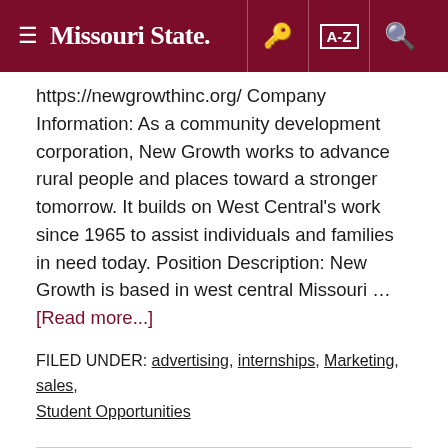Missouri State
https://newgrowthinc.org/ Company Information: As a community development corporation, New Growth works to advance rural people and places toward a stronger tomorrow. It builds on West Central's work since 1965 to assist individuals and families in need today. Position Description: New Growth is based in west central Missouri … [Read more...]
FILED UNDER: advertising, internships, Marketing, sales, Student Opportunities
Driver Recruiter: TransLand